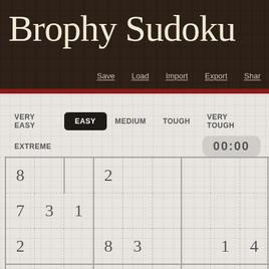Brophy Sudoku
Save  Load  Import  Export  Shar
[Figure (other): Sudoku puzzle grid showing an easy difficulty puzzle. Visible numbers: Row1: 8(col1),2(col4); Row2: 7(col1),3(col2),1(col3); Row3: 2(col1),8(col4),3(col5),1(col7),4(col8(partial)); Row4: 3(col1),1(col2),4(col3),6(col8(partial)); Row5: 6(col2),3(col4),9(col6); Row6: 9(col1),1(col5),4(col6),8(col8(partial))]